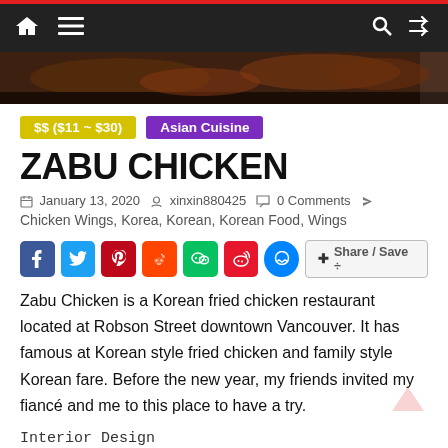Navigation bar with home, menu, search, shuffle icons
[Figure (photo): Close-up photo of Korean fried chicken food on a plate, dark background strip]
$$ ($11 ~ $30)   Asian Cuisine
ZABU CHICKEN
January 13, 2020   xinxin880425   0 Comments
Chicken Wings, Korea, Korean, Korean Food, Wings
[Figure (infographic): Social share buttons: Facebook, Twitter, Pinterest, Reddit, WeChat, Weibo, Messenger, Share/Save]
Zabu Chicken is a Korean fried chicken restaurant located at Robson Street downtown Vancouver. It has famous at Korean style fried chicken and family style Korean fare. Before the new year, my friends invited my fiancé and me to this place to have a try.
Interior Design